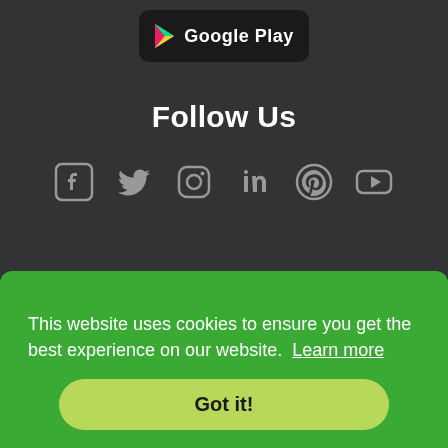[Figure (logo): Google Play store button/badge]
Follow Us
[Figure (infographic): Social media icons: Facebook, Twitter, Instagram, LinkedIn, Pinterest, YouTube]
© 2022 PHB Realty Company, LLC. All rights reserved. Better ... dens ... d by ... and ... ully ... the ... ntly ... ded ... are ... omes ... and Gardens Real Estate LLC nor any of its affiliated
This website uses cookies to ensure you get the best experience on our website. Learn more
Got it!